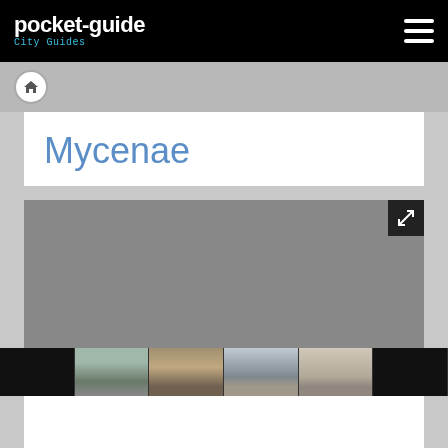pocket-guide City Guides
Mycenae
[Figure (photo): Main large image area for Mycenae (gray placeholder), with expand button in top-right corner]
[Figure (photo): Thumbnail strip with 5 images of Mycenae locations: black panel, landscape, stone archway, church/bell tower, museum artifacts, black panel]